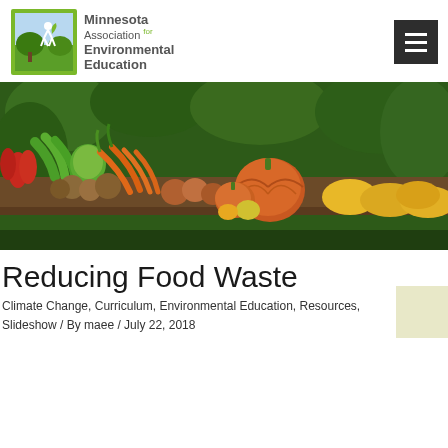[Figure (logo): Minnesota Association for Environmental Education logo with green figure and plant imagery in a square frame]
[Figure (photo): A colorful display of fresh vegetables including pumpkins, carrots, potatoes, peppers, and squash arranged on a wooden table outdoors with green foliage in background]
Reducing Food Waste
Climate Change, Curriculum, Environmental Education, Resources, Slideshow / By maee / July 22, 2018